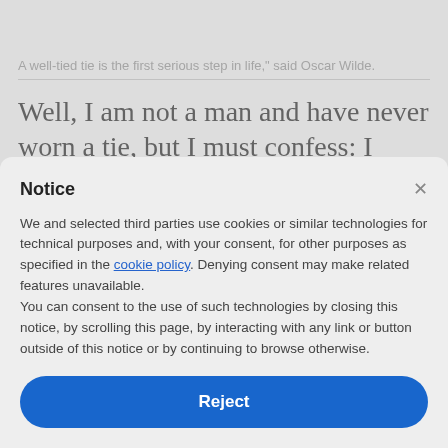A well-tied tie is the first serious step in life," said Oscar Wilde.
Well, I am not a man and have never worn a tie, but I must confess: I have always thought most
Notice
We and selected third parties use cookies or similar technologies for technical purposes and, with your consent, for other purposes as specified in the cookie policy. Denying consent may make related features unavailable.
You can consent to the use of such technologies by closing this notice, by scrolling this page, by interacting with any link or button outside of this notice or by continuing to browse otherwise.
Reject